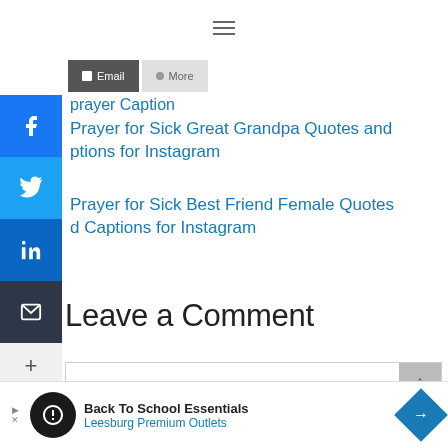≡ (hamburger menu icon)
[Figure (screenshot): Share buttons row: Email button (dark gray) and More button (light gray)]
[Figure (screenshot): Vertical social sharing sidebar with Facebook, Twitter, LinkedIn, Email icons and a plus button]
prayer Caption
Prayer for Sick Great Grandpa Quotes and ptions for Instagram
Prayer for Sick Best Friend Female Quotes d Captions for Instagram
Leave a Comment
[Figure (screenshot): Comment input text field with gray submit button]
[Figure (advertisement): Back To School Essentials - Leesburg Premium Outlets ad banner with logo and navigation arrow icon]